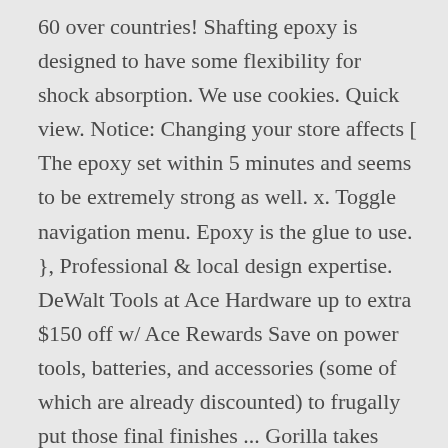60 over countries! Shafting epoxy is designed to have some flexibility for shock absorption. We use cookies. Quick view. Notice: Changing your store affects [ The epoxy set within 5 minutes and seems to be extremely strong as well. x. Toggle navigation menu. Epoxy is the glue to use. }, Professional & local design expertise. DeWalt Tools at Ace Hardware up to extra $150 off w/ Ace Rewards Save on power tools, batteries, and accessories (some of which are already discounted) to frugally put those final finishes ... Gorilla takes epoxy to the Gorilla tough level. The 100% adhesive formula provides a long-lasting, heavy duty bond. ], Place barcode in center of rectangle to scan. }